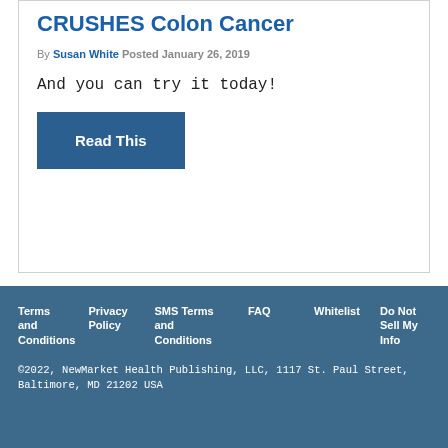CRUSHES Colon Cancer
By Susan White Posted January 26, 2019
And you can try it today!
Read This
Terms and Conditions   Privacy Policy   SMS Terms and Conditions   FAQ   Whitelist   Do Not Sell My Info
©2022, NewMarket Health Publishing, LLC, 1117 St. Paul Street, Baltimore, MD 21202 USA